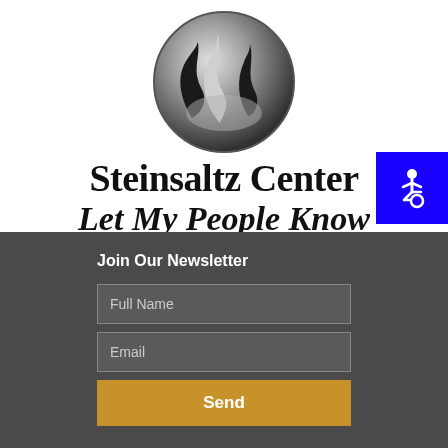[Figure (logo): Steinsaltz Center circular logo with flame/wave design in black and silver]
Steinsaltz Center
Let My People Know
[Figure (illustration): Blue accessibility wheelchair icon button in top-right corner]
Join Our Newsletter
Full Name
Email
Send